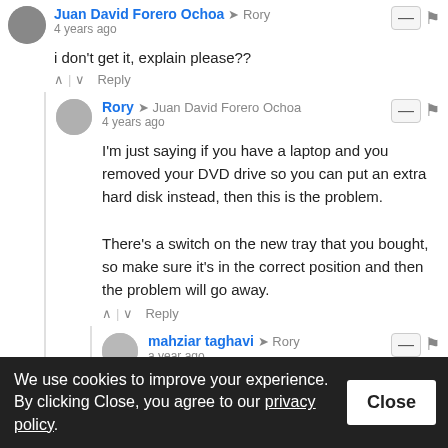Juan David Forero Ochoa → Rory
4 years ago
i don't get it, explain please??
Rory → Juan David Forero Ochoa
4 years ago
I'm just saying if you have a laptop and you removed your DVD drive so you can put an extra hard disk instead, then this is the problem.

There's a switch on the new tray that you bought, so make sure it's in the correct position and then the problem will go away.
mahziar taghavi → Rory
a year ago
hello. You really saved my life. I was getting nervous by too
We use cookies to improve your experience. By clicking Close, you agree to our privacy policy.